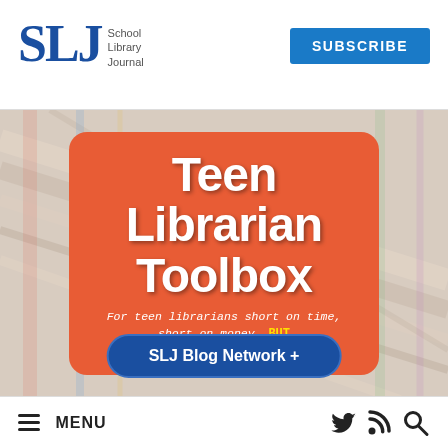[Figure (logo): SLJ School Library Journal logo with large blue SLJ letters and stacked text]
SUBSCRIBE
[Figure (illustration): Teen Librarian Toolbox advertisement on a blurred colored pencils/books background. Orange rounded rectangle card with white text: Teen Librarian Toolbox. Tagline: For teen librarians short on time, short on money, BUT NOT short on passion! Blue pill-shaped button: SLJ Blog Network +]
MENU
[Figure (other): Footer icons: Twitter bird, RSS feed, and magnifying glass search icon]